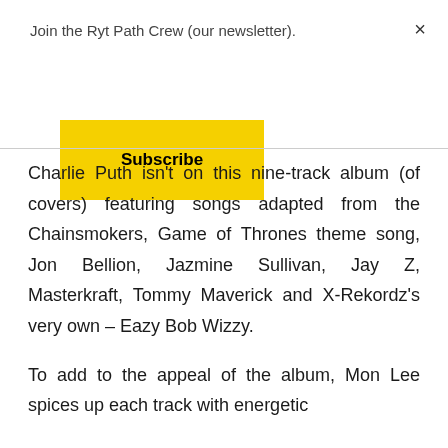Join the Ryt Path Crew (our newsletter).
×
Subscribe
Charlie Puth isn't on this nine-track album (of covers) featuring songs adapted from the Chainsmokers, Game of Thrones theme song, Jon Bellion, Jazmine Sullivan, Jay Z, Masterkraft, Tommy Maverick and X-Rekordz's very own – Eazy Bob Wizzy.
To add to the appeal of the album, Mon Lee spices up each track with energetic